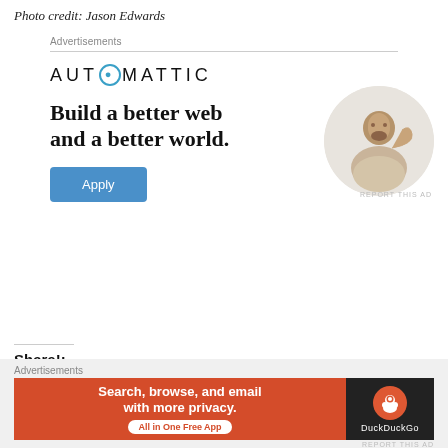Photo credit: Jason Edwards
Advertisements
[Figure (infographic): Automattic advertisement: logo, headline 'Build a better web and a better world.', Apply button, person in circle photo]
Share!:
Advertisements
[Figure (infographic): DuckDuckGo advertisement: 'Search, browse, and email with more privacy. All in One Free App' on orange background with DuckDuckGo logo on dark background]